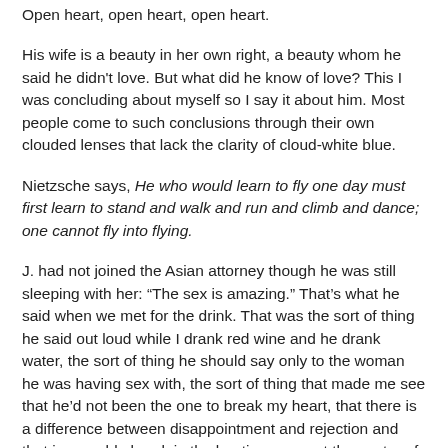Open heart, open heart, open heart.
His wife is a beauty in her own right, a beauty whom he said he didn't love. But what did he know of love? This I was concluding about myself so I say it about him. Most people come to such conclusions through their own clouded lenses that lack the clarity of cloud-white blue.
Nietzsche says, He who would learn to fly one day must first learn to stand and walk and run and climb and dance; one cannot fly into flying.
J. had not joined the Asian attorney though he was still sleeping with her: “The sex is amazing.” That’s what he said when we met for the drink. That was the sort of thing he said out loud while I drank red wine and he drank water, the sort of thing he should say only to the woman he was having sex with, the sort of thing that made me see that he’d not been the one to break my heart, that there is a difference between disappointment and rejection and that irreparable break in the beating organ at the center of our chests and minds and souls—the metaphor for who we are: human and alive: open